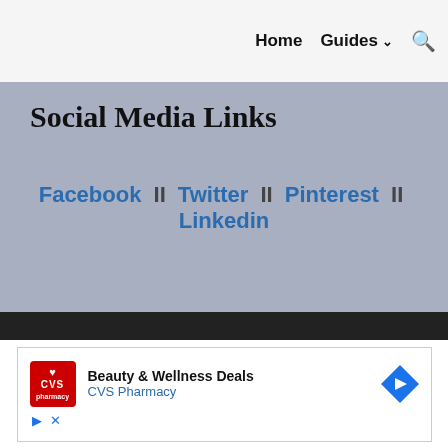Home  Guides  🔍
Social Media Links
Facebook II Twitter II Pinterest II Linkedin
COPYRIGHT © 2022. All Right Reserved by FIREPLACEHUBS.
[Figure (screenshot): CVS Pharmacy advertisement banner: Beauty & Wellness Deals by CVS Pharmacy]